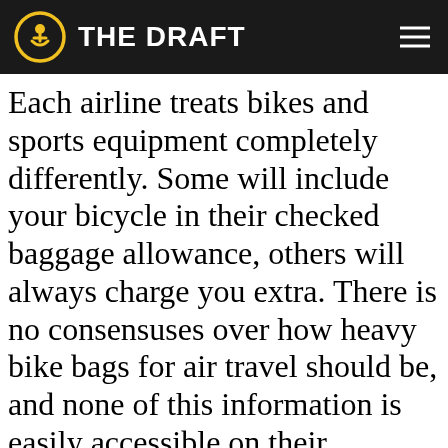THE DRAFT
Each airline treats bikes and sports equipment completely differently. Some will include your bicycle in their checked baggage allowance, others will always charge you extra. There is no consensuses over how heavy bike bags for air travel should be, and none of this information is easily accessible on their websites. How does British Airways sports equipment differ from an Easyjet bicycle booking?